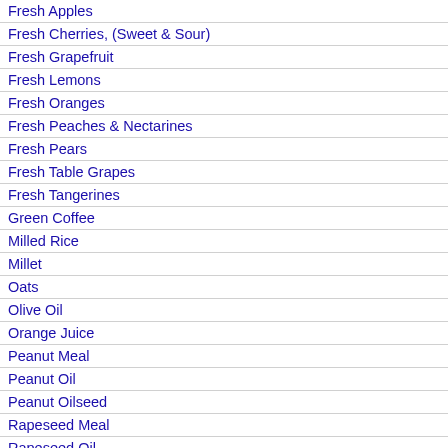Fresh Apples
Fresh Cherries, (Sweet & Sour)
Fresh Grapefruit
Fresh Lemons
Fresh Oranges
Fresh Peaches & Nectarines
Fresh Pears
Fresh Table Grapes
Fresh Tangerines
Green Coffee
Milled Rice
Millet
Oats
Olive Oil
Orange Juice
Peanut Meal
Peanut Oil
Peanut Oilseed
Rapeseed Meal
Rapeseed Oil
Rapeseed Oilseed
Rye
Sorghum
Soybean (Local) Meal
Soybean (Local) Oil
[Figure (line-chart): Line chart showing data by Year (1976-2020) with rotated x-axis labels, cropped at top]
Download to Excel (xls)
| Market Year | Total Distribution | Unit of Measure | Grow Ra |
| --- | --- | --- | --- |
| 1976 | 0 | (1000 MT) |  |
| 1977 | 110 | (1000 MT) |  |
| 1978 | 132 | (1000 MT) | 20.0 |
| 1979 | 137 | (1000 MT) | 3.7 |
| 1980 | 162 | (1000 MT) | 18.2 |
| 1981 | 261 | (1000 MT) | 61.1 |
| 1982 | 415 | (1000 MT) | 59.0 |
| 1983 | 557 | (1000 MT) | 34.2 |